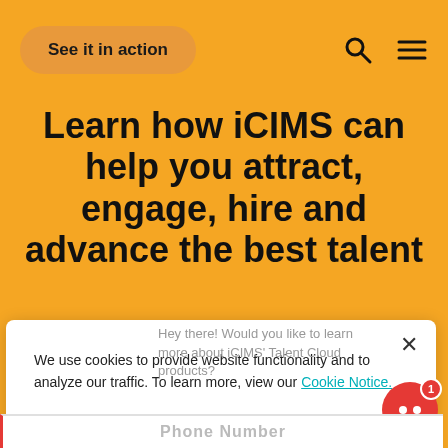See it in action
Learn how iCIMS can help you attract, engage, hire and advance the best talent
We use cookies to provide website functionality and to analyze our traffic. To learn more, view our Cookie Notice.
Accept All
Cookie Settings
Hey there! Would you like to learn more about iCIMS' Talent Cloud products?
Phone Number